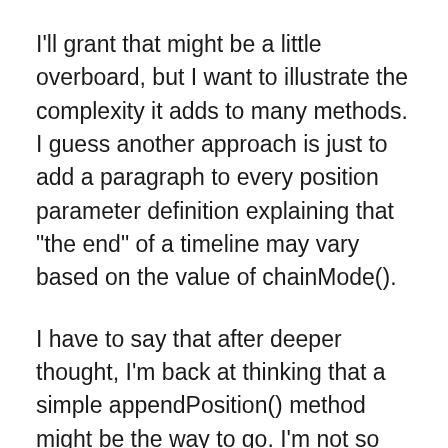I'll grant that might be a little overboard, but I want to illustrate the complexity it adds to many methods. I guess another approach is just to add a paragraph to every position parameter definition explaining that "the end" of a timeline may vary based on the value of chainMode().
I have to say that after deeper thought, I'm back at thinking that a simple appendPosition() method might be the way to go. I'm not so sure its worth making the API more confusing for such an edge-case that can be solved in a simpler way.
Currently methods using the position parameter work in these 5 ways, with the following 3 bold